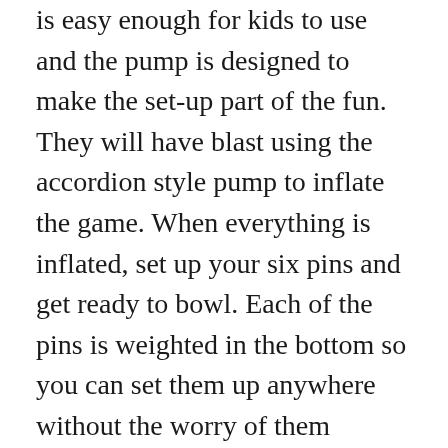is easy enough for kids to use and the pump is designed to make the set-up part of the fun. They will have blast using the accordion style pump to inflate the game. When everything is inflated, set up your six pins and get ready to bowl. Each of the pins is weighted in the bottom so you can set them up anywhere without the worry of them blowing away or falling over on an uneven surface. Although a hard surface is best, these pins can be used in the grass as well making for a great addition to your backyard games. The 25” ball and pins are constructed from heavy duty PVC (health safe) plastic. The whole kit is waterproof and made to last through as many games as you can play.
If this GIANT list of perks isn’t enough, Kleeger offers a 1-year warranty behind their product so